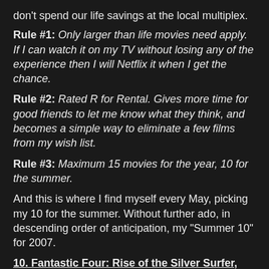don't spend our life savings at the local multiplex.
Rule #1: Only larger than life movies need apply. If I can watch it on my TV without losing any of the experience then I will Netflix it when I get the chance.
Rule #2: Rated R for Rental. Gives more time for good friends to let me know what they think, and becomes a simple way to eliminate a few films from my wish list.
Rule #3: Maximum 15 movies for the year, 10 for the summer.
And this is where I find myself every May, picking my 10 for the summer. Without further ado, in descending order of anticipation, my "Summer 10" for 2007.
10. Fantastic Four: Rise of the Silver Surfer, June 15th
I liked the original F4 more than most, and I'm pleasantly surprised that they went ahead with a sequel. Again, I think it helps me having absolutely zero knowledge of the comics.